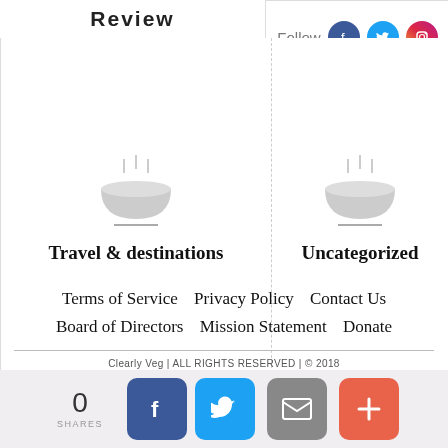Review
[Figure (other): Social media follow icons: Facebook, Twitter, Instagram with Follow label]
[Figure (illustration): Bowl/dish icon for Travel & destinations category]
Travel & destinations
[Figure (illustration): Bowl/dish icon for Uncategorized category]
Uncategorized
Terms of Service
Privacy Policy
Contact Us
Board of Directors
Mission Statement
Donate
Clearly Veg | ALL RIGHTS RESERVED | © 2018
[Figure (other): Share bar with 0 SHARES count and Facebook, Twitter, Email, Plus share buttons]